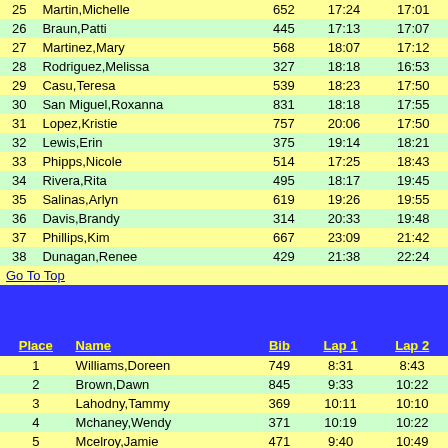| Place | Name | Bib | Lap 1 | Lap 2 |
| --- | --- | --- | --- | --- |
| 25 | Martin,Michelle | 652 | 17:24 | 17:01 |
| 26 | Braun,Patti | 445 | 17:13 | 17:07 |
| 27 | Martinez,Mary | 568 | 18:07 | 17:12 |
| 28 | Rodriguez,Melissa | 327 | 18:18 | 16:53 |
| 29 | Casu,Teresa | 539 | 18:23 | 17:50 |
| 30 | San Miguel,Roxanna | 831 | 18:18 | 17:55 |
| 31 | Lopez,Kristie | 757 | 20:06 | 17:50 |
| 32 | Lewis,Erin | 375 | 19:14 | 18:21 |
| 33 | Phipps,Nicole | 514 | 17:25 | 18:43 |
| 34 | Rivera,Rita | 495 | 18:17 | 19:45 |
| 35 | Salinas,Arlyn | 619 | 19:26 | 19:55 |
| 36 | Davis,Brandy | 314 | 20:33 | 19:48 |
| 37 | Phillips,Kim | 667 | 23:09 | 21:42 |
| 38 | Dunagan,Renee | 429 | 21:38 | 22:24 |
Go To Top
| Place | Name | Bib | Lap 1 | Lap 2 |
| --- | --- | --- | --- | --- |
| 1 | Williams,Doreen | 749 | 8:31 | 8:43 |
| 2 | Brown,Dawn | 845 | 9:33 | 10:22 |
| 3 | Lahodny,Tammy | 369 | 10:11 | 10:10 |
| 4 | Mchaney,Wendy | 371 | 10:19 | 10:22 |
| 5 | Mcelroy,Jamie | 471 | 9:40 | 10:49 |
| 6 | Milam,Krista | 424 | 10:37 | 11:10 |
| 7 | Chavarria,Norma | 674 | 10:01 | 11:24 |
| 8 | Valenta,Cathy | 352 | 10:22 | 11:45 |
| 9 | Helmer,Deana | 695 | 10:41 | 11:37 |